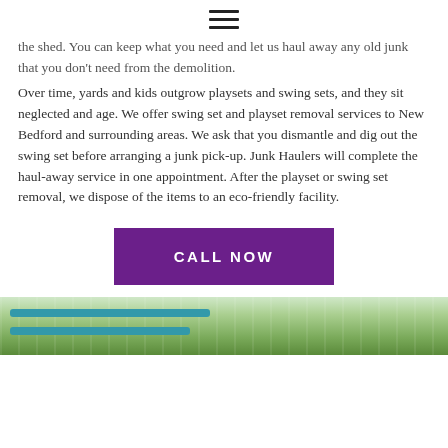≡
the shed. You can keep what you need and let us haul away any old junk that you don't need from the demolition.
Over time, yards and kids outgrow playsets and swing sets, and they sit neglected and age. We offer swing set and playset removal services to New Bedford and surrounding areas. We ask that you dismantle and dig out the swing set before arranging a junk pick-up. Junk Haulers will complete the haul-away service in one appointment. After the playset or swing set removal, we dispose of the items to an eco-friendly facility.
CALL NOW
[Figure (photo): Outdoor photo showing a green yard area with teal-colored playground equipment rails or fence visible at the bottom of the page]